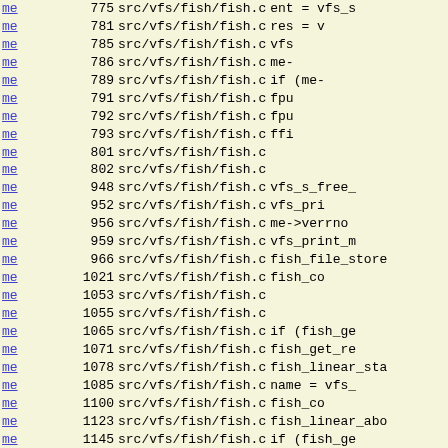| link | line | file | code |
| --- | --- | --- | --- |
| me | 775 | src/vfs/fish/fish.c | ent = vfs_s |
| me | 781 | src/vfs/fish/fish.c | res = v |
| me | 785 | src/vfs/fish/fish.c | vfs |
| me | 786 | src/vfs/fish/fish.c | me- |
| me | 789 | src/vfs/fish/fish.c | if (me- |
| me | 791 | src/vfs/fish/fish.c | fpu |
| me | 792 | src/vfs/fish/fish.c | fpu |
| me | 793 | src/vfs/fish/fish.c | ffi |
| me | 801 | src/vfs/fish/fish.c |  |
| me | 802 | src/vfs/fish/fish.c |  |
| me | 948 | src/vfs/fish/fish.c | vfs_s_free_ |
| me | 952 | src/vfs/fish/fish.c | vfs_pri |
| me | 956 | src/vfs/fish/fish.c | me->verrno |
| me | 959 | src/vfs/fish/fish.c | vfs_print_m |
| me | 966 | src/vfs/fish/fish.c | fish_file_store |
| me | 1021 | src/vfs/fish/fish.c | fish_co |
| me | 1053 | src/vfs/fish/fish.c |  |
| me | 1055 | src/vfs/fish/fish.c |  |
| me | 1065 | src/vfs/fish/fish.c | if (fish_ge |
| me | 1071 | src/vfs/fish/fish.c | fish_get_re |
| me | 1078 | src/vfs/fish/fish.c | fish_linear_sta |
| me | 1085 | src/vfs/fish/fish.c | name = vfs_ |
| me | 1100 | src/vfs/fish/fish.c | fish_co |
| me | 1123 | src/vfs/fish/fish.c | fish_linear_abo |
| me | 1145 | src/vfs/fish/fish.c | if (fish_ge |
| me | 1154 | src/vfs/fish/fish.c | fish_linear_rea |
| me | 1173 | src/vfs/fish/fish.c | fish_li |
| me | 1174 | src/vfs/fish/fish.c | else if (fi |
| me | 1182 | src/vfs/fish/fish.c | fish_linear_clo |
| me | 1187 | src/vfs/fish/fish.c | fish_li |
| me | 1050 | src/vfs/fish/fish.c | fish_fi |